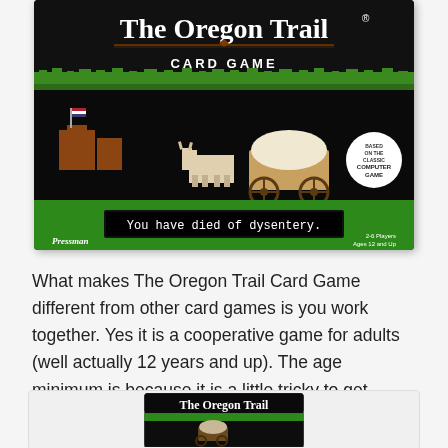[Figure (photo): The Oregon Trail Card Game box cover showing pixelated art with wagon, oxen, a fort, and text 'You have died of dysentery.' Published by Pressman, for 2-6 players ages 12 and up.]
What makes The Oregon Trail Card Game different from other card games is you work together. Yes it is a cooperative game for adults (well actually 12 years and up). The age minimum is because it is a little tricky to get started but once you start playing it will get easy.
[Figure (photo): Partial view of The Oregon Trail Card Game box, showing a side/angled view with the title visible.]